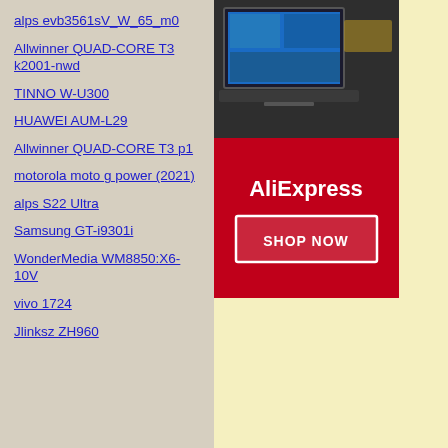alps evb3561sV_W_65_m0
Allwinner QUAD-CORE T3 k2001-nwd
TINNO W-U300
HUAWEI AUM-L29
Allwinner QUAD-CORE T3 p1
motorola moto g power (2021)
alps S22 Ultra
Samsung GT-i9301i
WonderMedia WM8850:X6-10V
vivo 1724
Jlinksz ZH960
[Figure (photo): Laptop/tablet device on a surface]
[Figure (infographic): AliExpress advertisement with red background, AliExpress logo, and SHOP NOW button]